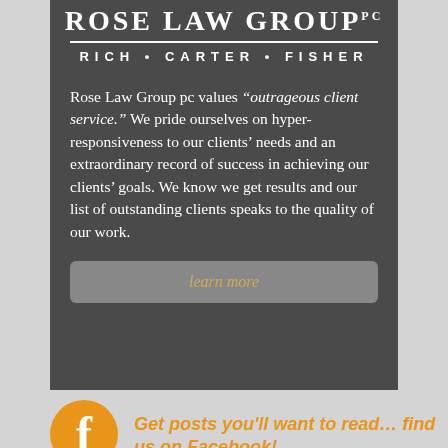ROSE LAW GROUP pc · RICH · CARTER · FISHER
Rose Law Group pc values "outrageous client service." We pride ourselves on hyper-responsiveness to our clients' needs and an extraordinary record of success in achieving our clients' goals. We know we get results and our list of outstanding clients speaks to the quality of our work.
learn more
Get posts you'll want to read... find us on Facebook!